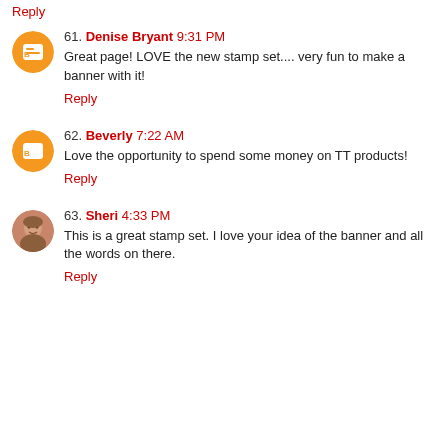Reply
61. Denise Bryant 9:31 PM
Great page! LOVE the new stamp set.... very fun to make a banner with it!
Reply
62. Beverly 7:22 AM
Love the opportunity to spend some money on TT products!
Reply
63. Sheri 4:33 PM
This is a great stamp set. I love your idea of the banner and all the words on there.
Reply